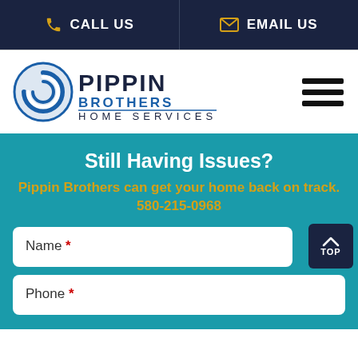CALL US | EMAIL US
[Figure (logo): Pippin Brothers Home Services logo with blue circular swirl icon and dark blue text]
Still Having Issues?
Pippin Brothers can get your home back on track.
580-215-0968
Name *
Phone *